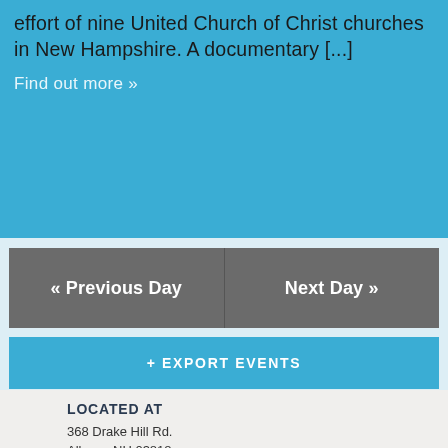effort of nine United Church of Christ churches in New Hampshire. A documentary [...]
Find out more »
« Previous Day
Next Day »
+ EXPORT EVENTS
LOCATED AT
368 Drake Hill Rd.
Albany, NH 03818